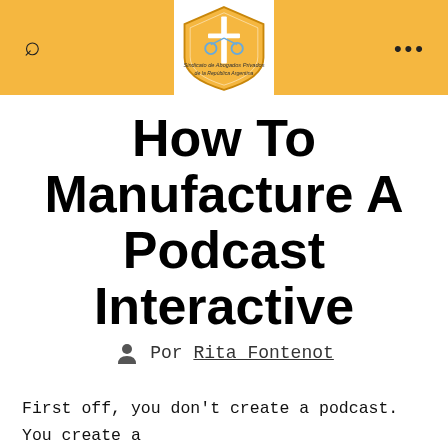Sindicato de Abogados Privados de la República Argentina
How To Manufacture A Podcast Interactive
Por Rita Fontenot
First off, you don't create a podcast. You create a string of podcasts. One can be an MP3 or digital